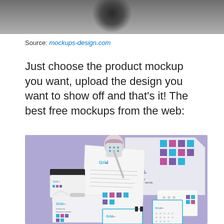[Figure (photo): Top portion of a product mockup photo, showing a dark blurred object against a gray gradient background]
Source: mockups-design.com
Just choose the product mockup you want, upload the design you want to show off and that's it! The best free mockups from the web:
[Figure (photo): Branded stationery mockup set on a purple background featuring Grid-branded items including folders, notebooks, letterheads, business cards, a bottle, and a badge, all with a blue and magenta geometric grid pattern]